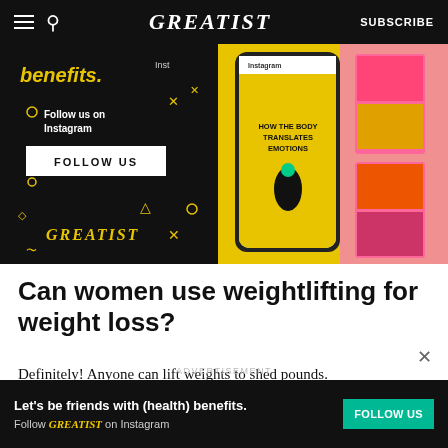GREATIST | SUBSCRIBE
[Figure (screenshot): Greatist Instagram promotional banner showing Follow us on Instagram text, a FOLLOW US button, Greatist logo in yellow on black background, alongside a phone mockup showing an Instagram post 'How the Body Translates Emotions']
Can women use weightlifting for weight loss?
Definitely! Anyone can lift weights to shed pounds. Weightlifting can help you build muscle. And
ADVERTISEMENT
[Figure (infographic): Bottom advertisement bar: Let's be friends with (health) benefits. Follow GREATIST on Instagram. FOLLOW US green button.]